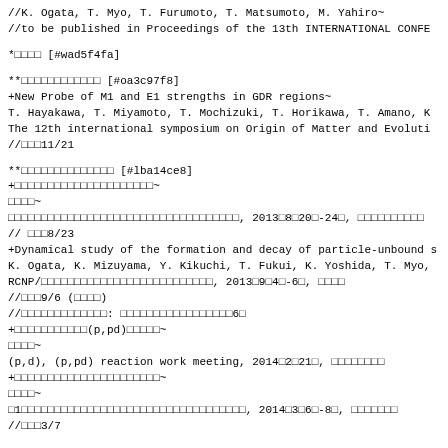//K. Ogata, T. Myo, T. Furumoto, T. Matsumoto, M. Yahiro~
//to be published in Proceedings of the 13th INTERNATIONAL CONFE
*□□□□ [#wad5f4fa]
**□□□□□□□□□□□□ [#oa3c97f8]
+New Probe of M1 and E1 strengths in GDR regions~
T. Hayakawa, T. Miyamoto, T. Mochizuki, T. Horikawa, T. Amano, K
The 12th international symposium on Origin of Matter and Evoluti
//□□□11/21
**□□□□□□□□□□□□□□ [#lba14ce8]
+□□□□□□□□□□□□□□□□□□□□□~
□□□□~
□□□□□□□□□□□□□□□□□□□□□□□□□□□□□□□□□□□, 2013□8□20□-24□, □□□□□□□□□□
// □□□8/23
+Dynamical study of the formation and decay of particle-unbound s
K. Ogata, K. Mizuyama, Y. Kikuchi, T. Fukui, K. Yoshida, T. Myo,
RCNP/□□□□□□□□□□□□□□□□□□□□□□□□□□, 2013□9□4□-6□, □□□□
//□□□9/6 (□□□□)
//□□□□□□□□□□□□□: □□□□□□□□□□□□□□□□□6□
+□□□□□□□□□□□(p,pd)□□□□□~
□□□□~
(p,d), (p,pd) reaction work meeting, 2014□2□21□, □□□□□□□□
+□□□□□□□□□□□□□□□□□□□□□□~
□□□□~
□1□□□□□□□□□□□□□□□□□□□□□□□□□□□□□□□□□□, 2014□3□6□-8□, □□□□□□□
//□□□3/7